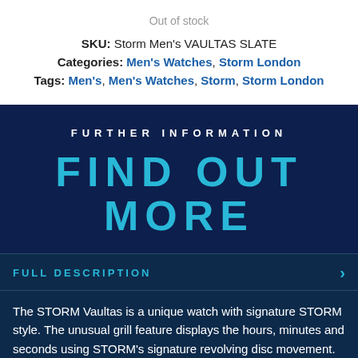Out of stock
SKU: Storm Men's VAULTAS SLATE
Categories: Men's Watches, Storm London
Tags: Men's, Men's Watches, Storm, Storm London
FURTHER INFORMATION
FIND OUT MORE
FULL DESCRIPTION
The STORM Vaultas is a unique watch with signature STORM style. The unusual grill feature displays the hours, minutes and seconds using STORM's signature revolving disc movement. The Vaultas is made from stainless steel and a plastic trim with